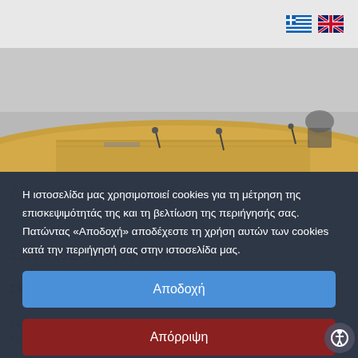Language selector with Greek and English flags
[Figure (photo): Conference room with a curved wooden table and microphones]
Η ιστοσελίδα μας χρησιμοποιεί cookies για τη μέτρηση της επισκεψιμότητάς της και τη βελτίωση της περιήγησής σας. Πατώντας «Αποδοχή» αποδέχεστε τη χρήση αυτών των cookies κατά την περιήγησή σας στην ιστοσελίδα μας.
Αποδοχή
Απόρριψη
Ρυθμίσεις
Διαβάστε περισσότερα